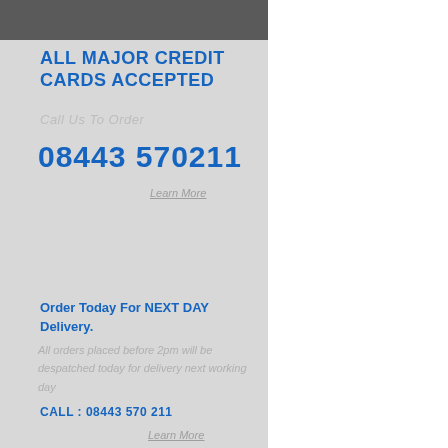ALL MAJOR CREDIT CARDS ACCEPTED
Call Us To Order
08443 570211
Learn More
Order Today For NEXT DAY Delivery.
All orders placed before 2pm will be despatched today for delivery next working day
CALL : 08443 570 211
Learn More